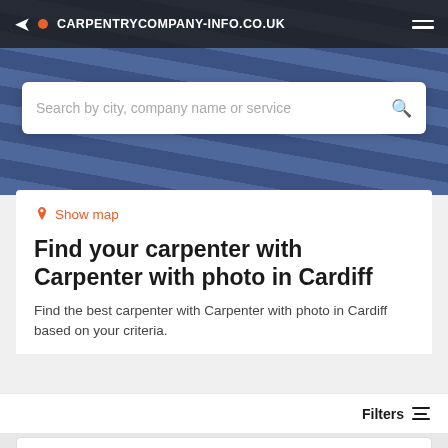CARPENTRYCOMPANY-INFO.CO.UK
[Figure (screenshot): Hero image background of denim fabric with carpenter tool]
Search by city, company name or service
Show map
Find your carpenter with Carpenter with photo in Cardiff
Find the best carpenter with Carpenter with photo in Cardiff based on your criteria.
Filters